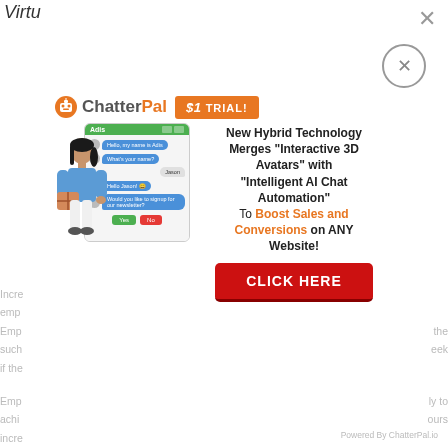Virtu
[Figure (screenshot): ChatterPal advertisement popup with $1 Trial badge, chat widget mockup with 3D avatar, and CLICK HERE button. Text reads: New Hybrid Technology Merges 'Interactive 3D Avatars' with 'Intelligent AI Chat Automation' To Boost Sales and Conversions on ANY Website!]
Incre... emp... Emp... such... the tele... eek if the...
Emp... ly to achi... ours incre... usu...
Powered By ChatterPal.io